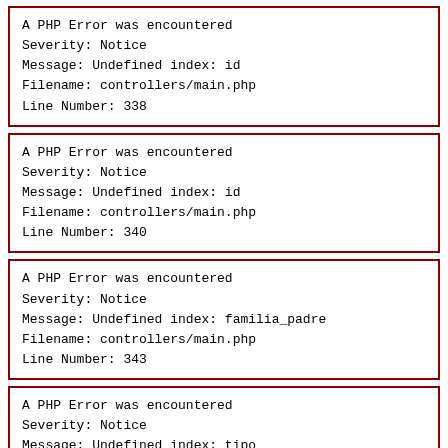A PHP Error was encountered
Severity: Notice
Message: Undefined index: id
Filename: controllers/main.php
Line Number: 338
A PHP Error was encountered
Severity: Notice
Message: Undefined index: id
Filename: controllers/main.php
Line Number: 340
A PHP Error was encountered
Severity: Notice
Message: Undefined index: familia_padre
Filename: controllers/main.php
Line Number: 343
A PHP Error was encountered
Severity: Notice
Message: Undefined index: tipo
Filename: controllers/main.php
Line Number: 344
A PHP Error was encountered
Severity: Notice
Message: Undefined index: tipo
Filename: controllers/main.php
Line Number: 346